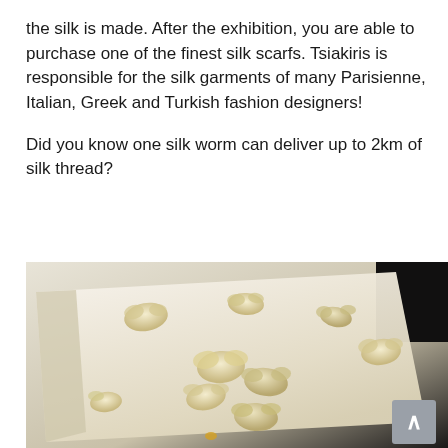the silk is made. After the exhibition, you are able to purchase one of the finest silk scarfs. Tsiakiris is responsible for the silk garments of many Parisienne, Italian, Greek and Turkish fashion designers!

Did you know one silk worm can deliver up to 2km of silk thread?
[Figure (photo): Close-up photograph of silkworm moths (Bombyx mori) scattered on a white paper tray. The moths appear cream/yellowish-white in color against the light background. The image is taken at an angle showing the tray in perspective. Dark background visible in upper right corner.]